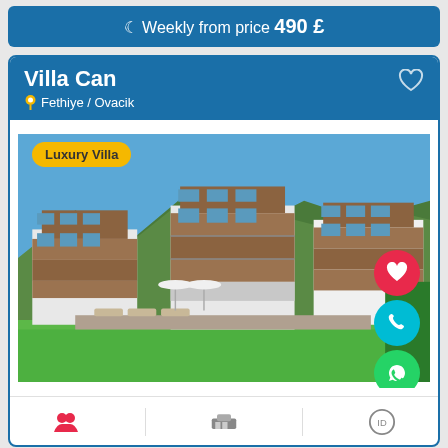Weekly from price 490 £
Villa Can
Fethiye / Ovacik
[Figure (photo): Exterior photo of Villa Can showing three modern multi-story villas with wood cladding, large windows, balconies, set against a mountain backdrop with a large green lawn in the foreground, sun loungers and umbrellas visible, 'Luxury Villa' badge overlay, heart/phone/WhatsApp FAB buttons on right side.]
Luxury Villa